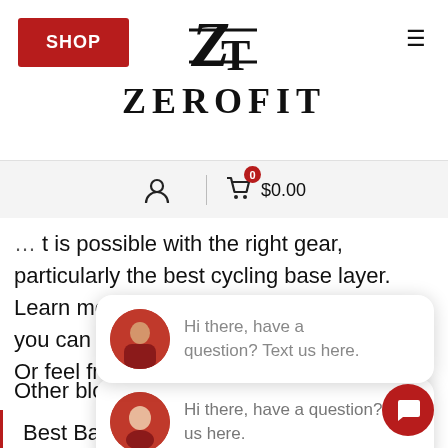SHOP | ZEROFIT
... is possible with the right gear, particularly the best cycling base layer. Learn more about the Heatrub Move that you can only shop at Zerofit USA today! Or feel free to contact us at any time.
[Figure (screenshot): Chat popup with avatar photo of a man, text: Hi there, have a question? Text us here.]
Other blogs:
Best Base Layer for Cold Weather – Everything You Need to Know